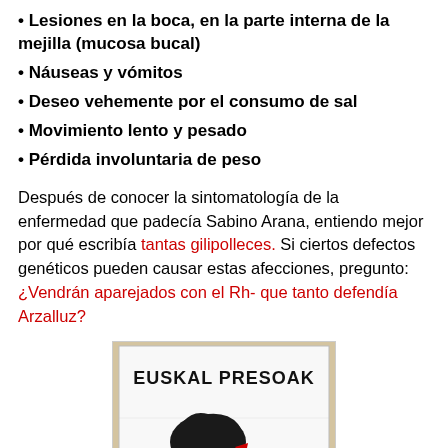Lesiones en la boca, en la parte interna de la mejilla (mucosa bucal)
Náuseas y vómitos
Deseo vehemente por el consumo de sal
Movimiento lento y pesado
Pérdida involuntaria de peso
Después de conocer la sintomatología de la enfermedad que padecía Sabino Arana, entiendo mejor por qué escribía tantas gilipolleces. Si ciertos defectos genéticos pueden causar estas afecciones, pregunto: ¿Vendrán aparejados con el Rh- que tanto defendía Arzalluz?
[Figure (photo): Photo of a white banner or cloth with the text 'EUSKAL PRESOAK' in black letters, featuring a black silhouette map shape with a red arrow pointing to it.]